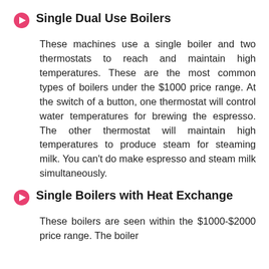Single Dual Use Boilers
These machines use a single boiler and two thermostats to reach and maintain high temperatures. These are the most common types of boilers under the $1000 price range. At the switch of a button, one thermostat will control water temperatures for brewing the espresso. The other thermostat will maintain high temperatures to produce steam for steaming milk. You can’t do make espresso and steam milk simultaneously.
Single Boilers with Heat Exchange
These boilers are seen within the $1000-$2000 price range. The boiler